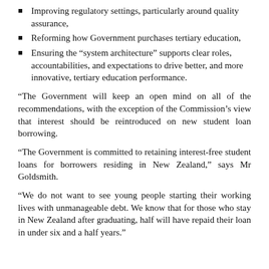Improving regulatory settings, particularly around quality assurance,
Reforming how Government purchases tertiary education,
Ensuring the “system architecture” supports clear roles, accountabilities, and expectations to drive better, and more innovative, tertiary education performance.
“The Government will keep an open mind on all of the recommendations, with the exception of the Commission’s view that interest should be reintroduced on new student loan borrowing.
“The Government is committed to retaining interest-free student loans for borrowers residing in New Zealand,” says Mr Goldsmith.
“We do not want to see young people starting their working lives with unmanageable debt. We know that for those who stay in New Zealand after graduating, half will have repaid their loan in under six and a half years.”